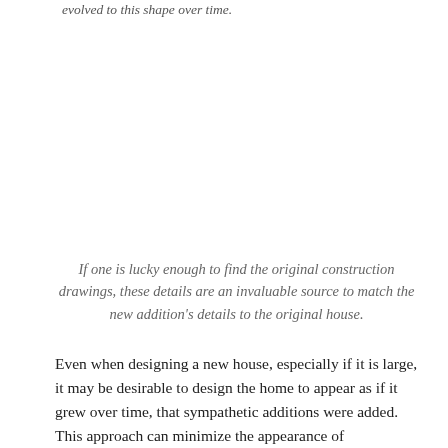evolved to this shape over time.
If one is lucky enough to find the original construction drawings, these details are an invaluable source to match the new addition’s details to the original house.
Even when designing a new house, especially if it is large, it may be desirable to design the home to appear as if it grew over time, that sympathetic additions were added. This approach can minimize the appearance of